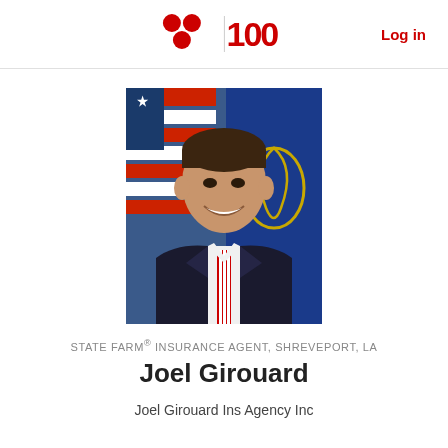STATE FARM 100 | Log in
[Figure (photo): Professional headshot of Joel Girouard, a young man in a dark suit with a red and white striped tie, smiling, with American and Louisiana state flags in the background.]
STATE FARM® INSURANCE AGENT, SHREVEPORT, LA
Joel Girouard
Joel Girouard Ins Agency Inc